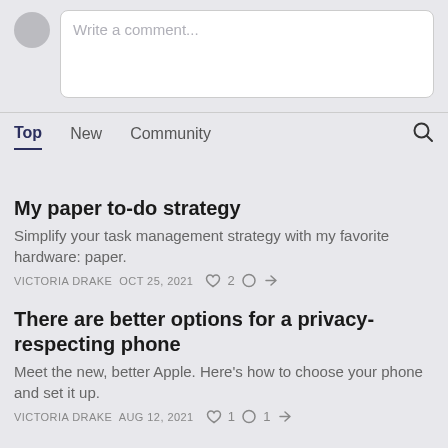[Figure (screenshot): Comment input box with avatar and placeholder text 'Write a comment...']
Top | New | Community
My paper to-do strategy
Simplify your task management strategy with my favorite hardware: paper.
VICTORIA DRAKE   OCT 25, 2021   ♡2   💬   ➦
There are better options for a privacy-respecting phone
Meet the new, better Apple. Here's how to choose your phone and set it up.
VICTORIA DRAKE   AUG 12, 2021   ♡1   💬1   ➦